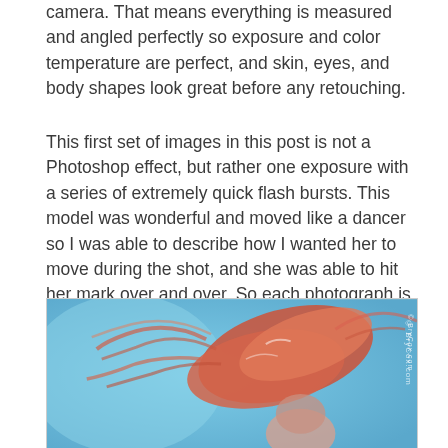camera. That means everything is measured and angled perfectly so exposure and color temperature are perfect, and skin, eyes, and body shapes look great before any retouching.
This first set of images in this post is not a Photoshop effect, but rather one exposure with a series of extremely quick flash bursts. This model was wonderful and moved like a dancer so I was able to describe how I wanted her to move during the shot, and she was able to hit her mark over and over. So each photograph is a series of multiple exposures all in one shot.
[Figure (photo): A woman with flowing red/orange hair moving dramatically against a blue background, captured with multiple flash exposures. Watermark reads '© BryCox.com' vertically on right side.]